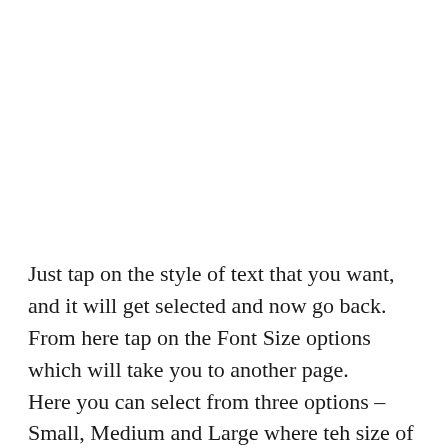Just tap on the style of text that you want, and it will get selected and now go back. From here tap on the Font Size options which will take you to another page. Here you can select from three options – Small, Medium and Large where teh size of the text can be seen in the relative text. Select any one of it, and now you are ready to go back to the home screen and enjoy the customs